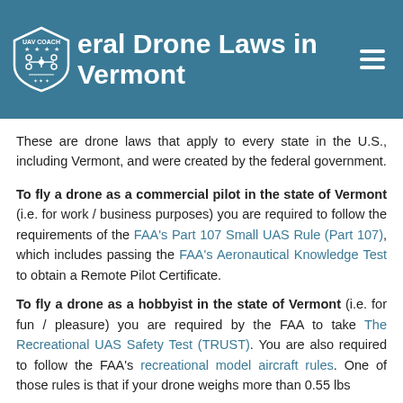Federal Drone Laws in Vermont
These are drone laws that apply to every state in the U.S., including Vermont, and were created by the federal government.
To fly a drone as a commercial pilot in the state of Vermont (i.e. for work / business purposes) you are required to follow the requirements of the FAA's Part 107 Small UAS Rule (Part 107), which includes passing the FAA's Aeronautical Knowledge Test to obtain a Remote Pilot Certificate.
To fly a drone as a hobbyist in the state of Vermont (i.e. for fun / pleasure) you are required by the FAA to take The Recreational UAS Safety Test (TRUST). You are also required to follow the FAA's recreational model aircraft rules. One of those rules is that if your drone weighs more than 0.55 lbs